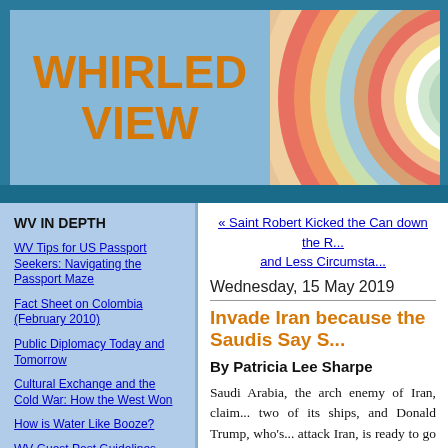[Figure (illustration): Whirled View blog header with orange bold text 'WHIRLED VIEW' on blue background and colorful concentric circle artwork on the right]
WHIRLED VIEW
WV IN DEPTH
WV Tips for US Passport Seekers: Navigating the Passport Maze
Fact Sheet on Colombia (February 2010)
Public Diplomacy Today and Tomorrow
Cultural Exchange and the Cold War: How the West Won
How is Water Like Booze?
WV Guest Post Guidelines
The Troubled State of State - A System Run Amok
RECENT POSTS
« Saint Robert Kicked the Can down the R... and Less Circumsta...
Wednesday, 15 May 2019
Invade Iran because the Saudis Say S...
By Patricia Lee Sharpe
Saudi Arabia, the arch enemy of Iran, claim... two of its ships, and Donald Trump, who's... attack Iran, is ready to go to war.
Is it too late to make the Saudis impound...